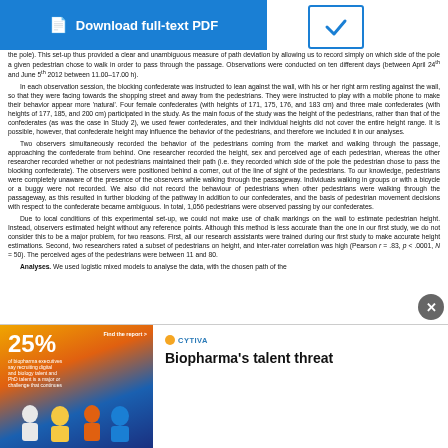[Figure (other): Blue 'Download full-text PDF' button with document icon]
[Figure (other): Checkbox/checkmark confirmation box in blue border]
the pole). This set-up thus provided a clear and unambiguous measure of path deviation by allowing us to record simply on which side of the pole a given pedestrian chose to walk in order to pass through the passage. Observations were conducted on ten different days (between April 24th and June 5th 2012 between 11.00–17.00 h).
In each observation session, the blocking confederate was instructed to lean against the wall, with his or her right arm resting against the wall, so that they were facing towards the shopping street and away from the pedestrians. They were instructed to play with a mobile phone to make their behavior appear more 'natural'. Four female confederates (with heights of 171, 175, 176, and 183 cm) and three male confederates (with heights of 177, 185, and 200 cm) participated in the study. As the main focus of the study was the height of the pedestrians, rather than that of the confederates (as was the case in Study 2), we used fewer confederates, and their individual heights did not cover the entire height range. It is possible, however, that confederate height may influence the behavior of the pedestrians, and therefore we included it in our analyses.
Two observers simultaneously recorded the behavior of the pedestrians coming from the market and walking through the passage, approaching the confederate from behind. One researcher recorded the height, sex and perceived age of each pedestrian, whereas the other researcher recorded whether or not pedestrians maintained their path (i.e. they recorded which side of the pole the pedestrian chose to pass the blocking confederate). The observers were positioned behind a corner, out of the line of sight of the pedestrians. To our knowledge, pedestrians were completely unaware of the presence of the observers while walking through the passageway. Individuals walking in groups or with a bicycle or a buggy were not recorded. We also did not record the behaviour of pedestrians when other pedestrians were walking through the passageway, as this resulted in further blocking of the pathway in addition to our confederates, and the basis of pedestrian movement decisions with respect to the confederate became ambiguous. In total, 1,056 pedestrians were observed passing by our confederates.
Due to local conditions of this experimental set-up, we could not make use of chalk markings on the wall to estimate pedestrian height. Instead, observers estimated height without any reference points. Although this method is less accurate than the one in our first study, we do not consider this to be a major problem, for two reasons. First, all our research assistants were trained during our first study to make accurate height estimations. Second, two researchers rated a subset of pedestrians on height, and inter-rater correlation was high (Pearson r = .83, p < .0001, N = 50). The perceived ages of the pedestrians were between 11 and 80.
Analyses. We used logistic mixed models to analyse the data, with the chosen path of the
[Figure (infographic): Advertisement banner: Cytiva Biopharma talent threat ad with 25% statistic and figures of people]
Biopharma's talent threat